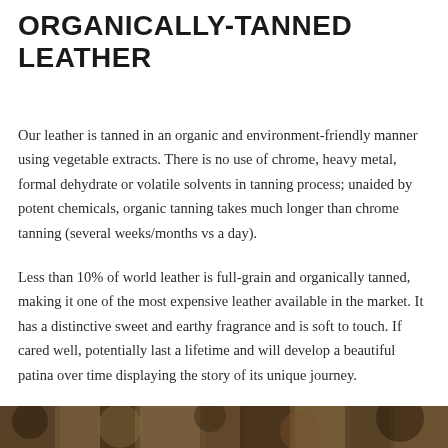ORGANICALLY-TANNED LEATHER
Our leather is tanned in an organic and environment-friendly manner using vegetable extracts. There is no use of chrome, heavy metal, formal dehydrate or volatile solvents in tanning process; unaided by potent chemicals, organic tanning takes much longer than chrome tanning (several weeks/months vs a day).
Less than 10% of world leather is full-grain and organically tanned, making it one of the most expensive leather available in the market. It has a distinctive sweet and earthy fragrance and is soft to touch. If cared well, potentially last a lifetime and will develop a beautiful patina over time displaying the story of its unique journey.
[Figure (photo): Partial photo strip at the bottom of the page showing an organic/natural textured material, likely leather or plant material in dark earthy tones]